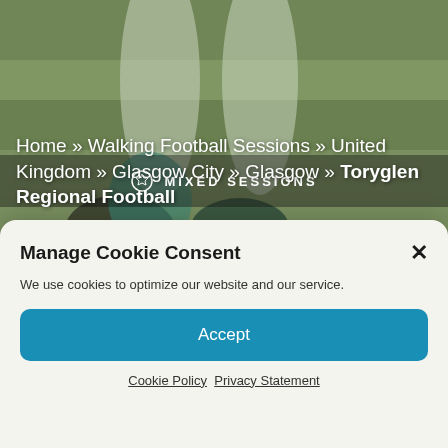[Figure (photo): Background photo of football boots on grass, partially obscured by semi-transparent overlays]
MIXED SESSIONS
DISABILITY SESSIONS
Home » Walking Football Sessions » United Kingdom » Glasgow City » Glasgow » Toryglen Regional Football
Manage Cookie Consent
We use cookies to optimize our website and our service.
Accept
Cookie Policy  Privacy Statement